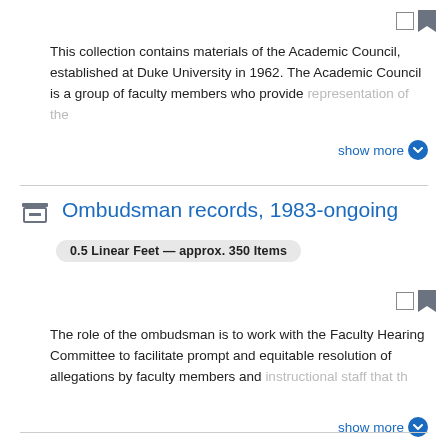This collection contains materials of the Academic Council, established at Duke University in 1962. The Academic Council is a group of faculty members who provide representation of the…
show more
Ombudsman records, 1983-ongoing
0.5 Linear Feet — approx. 350 Items
The role of the ombudsman is to work with the Faculty Hearing Committee to facilitate prompt and equitable resolution of allegations by faculty members and instructional staff that th…
show more